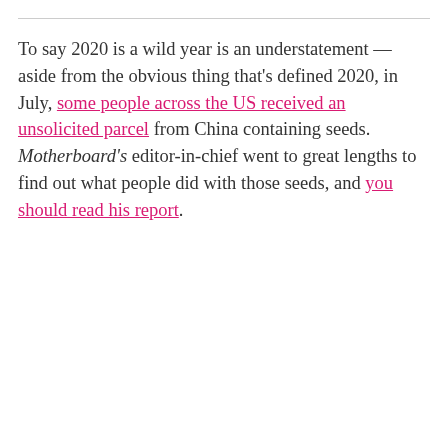To say 2020 is a wild year is an understatement — aside from the obvious thing that's defined 2020, in July, some people across the US received an unsolicited parcel from China containing seeds. Motherboard's editor-in-chief went to great lengths to find out what people did with those seeds, and you should read his report.